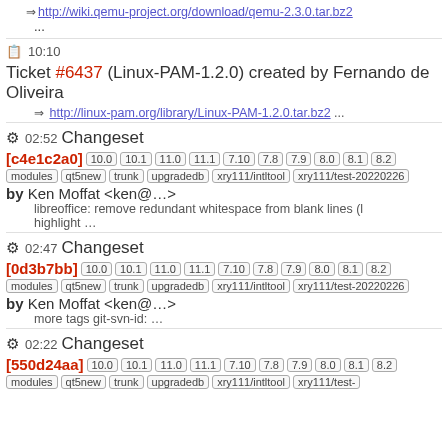⇒ http://wiki.qemu-project.org/download/qemu-2.3.0.tar.bz2
...
10:10 Ticket #6437 (Linux-PAM-1.2.0) created by Fernando de Oliveira
⇒ http://linux-pam.org/library/Linux-PAM-1.2.0.tar.bz2 ...
02:52 Changeset
[c4e1c2a0] 10.0 10.1 11.0 11.1 7.10 7.8 7.9 8.0 8.1 8.2 modules qt5new trunk upgradedb xry111/intltool xry111/test-20220226 by Ken Moffat <ken@...>
libreoffice: remove redundant whitespace from blank lines (l highlight ...
02:47 Changeset
[0d3b7bb] 10.0 10.1 11.0 11.1 7.10 7.8 7.9 8.0 8.1 8.2 modules qt5new trunk upgradedb xry111/intltool xry111/test-20220226 by Ken Moffat <ken@...>
more tags git-svn-id: ...
02:22 Changeset
[550d24aa] 10.0 10.1 11.0 11.1 7.10 7.8 7.9 8.0 8.1 8.2 modules qt5new trunk upgradedb xry111/test-